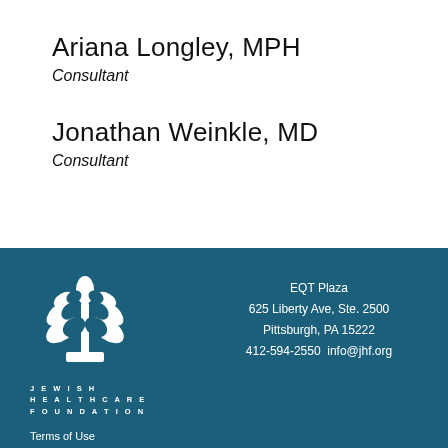Ariana Longley, MPH
Consultant
Jonathan Weinkle, MD
Consultant
[Figure (logo): Jewish Healthcare Foundation logo — white stylized plant/leaf emblem above text 'JEWISH HEALTHCARE FOUNDATION' on teal background]
EQT Plaza
625 Liberty Ave, Ste. 2500
Pittsburgh, PA 15222
412-594-2550  info@jhf.org
Terms of Use
Privacy Policy